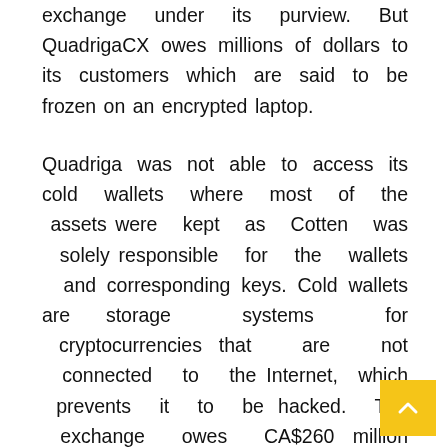exchange under its purview. But QuadrigaCX owes millions of dollars to its customers which are said to be frozen on an encrypted laptop.
Quadriga was not able to access its cold wallets where most of the assets were kept as Cotten was solely responsible for the wallets and corresponding keys. Cold wallets are storage systems for cryptocurrencies that are not connected to the Internet, which prevents it to be hacked. The exchange owes CA$260 million ($198,435,000) to its users but it has only CA$375,000 ($286,000) in